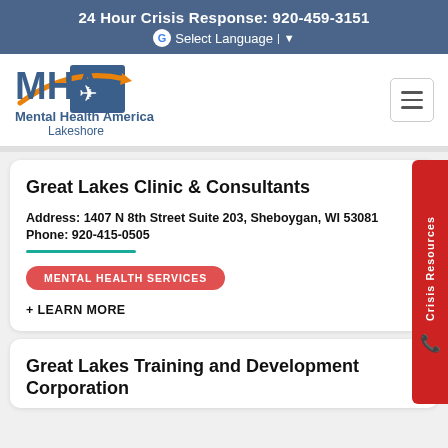24 Hour Crisis Response: 920-459-3151
[Figure (logo): Mental Health America Lakeshore logo with MHA text and orange swoosh arrow]
Great Lakes Clinic & Consultants
Address: 1407 N 8th Street Suite 203, Sheboygan, WI 53081
Phone: 920-415-0505
MENTAL HEALTH SERVICES
+ LEARN MORE
Great Lakes Training and Development Corporation